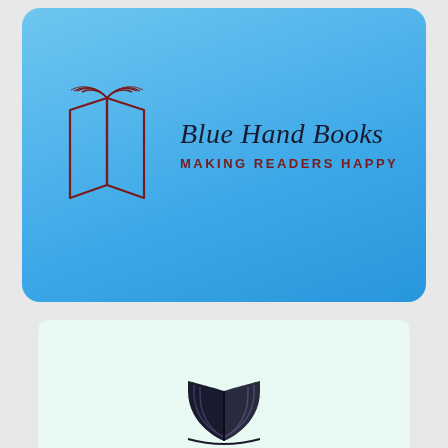[Figure (logo): Blue Hand Books logo on a blue gradient rounded rectangle card. Features an open book outline drawn in dark red/maroon lines with decorative page tops, next to cursive text 'Blue Hand Books' in dark color and below it 'MAKING READERS HAPPY' in spaced uppercase dark red letters.]
[Figure (logo): A solid black open book icon (simplified, filled silhouette style) centered on a light mint/pale green rounded rectangle card, partially visible at bottom of page.]